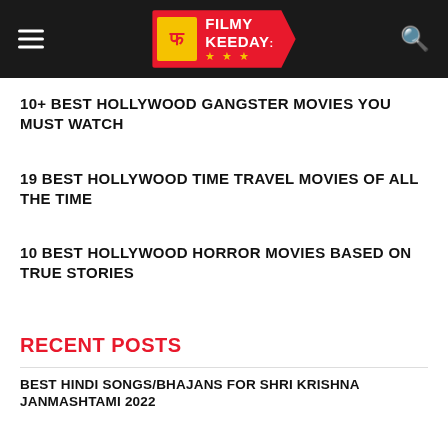Filmy Keeday
10+ BEST HOLLYWOOD GANGSTER MOVIES YOU MUST WATCH
19 BEST HOLLYWOOD TIME TRAVEL MOVIES OF ALL THE TIME
10 BEST HOLLYWOOD HORROR MOVIES BASED ON TRUE STORIES
RECENT POSTS
BEST HINDI SONGS/BHAJANS FOR SHRI KRISHNA JANMASHTAMI 2022